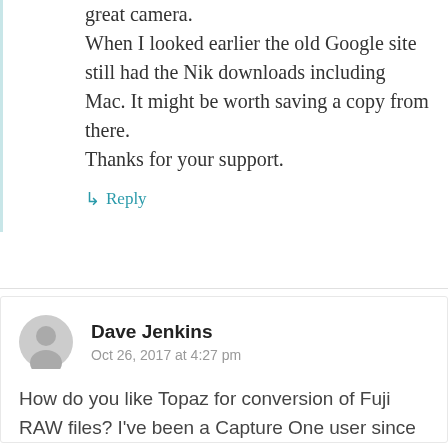great camera. When I looked earlier the old Google site still had the Nik downloads including Mac. It might be worth saving a copy from there. Thanks for your support.
↳ Reply
Dave Jenkins
Oct 26, 2017 at 4:27 pm
How do you like Topaz for conversion of Fuji RAW files? I've been a Capture One user since